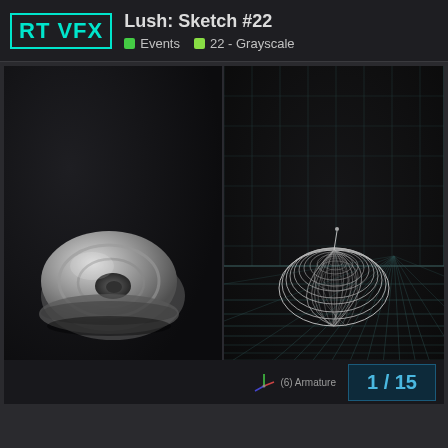RT VFX  Lush: Sketch #22  Events  22 - Grayscale
[Figure (screenshot): 3D software viewport showing two panels side by side. Left panel: a solid grey 3D snail shell model on dark background. Right panel: wireframe of the same snail shell model on a dark background with a perspective grid floor. Both panels show Blender or similar 3D application viewport.]
(6) Armature  1 / 15